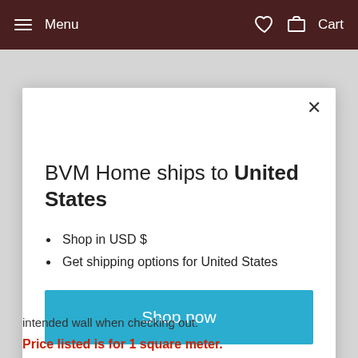Menu  Cart
BVM Home ships to United States
Shop in USD $
Get shipping options for United States
Shop now
Change shipping country
intended wall when checking out.
Price listed is for 1 square meter.